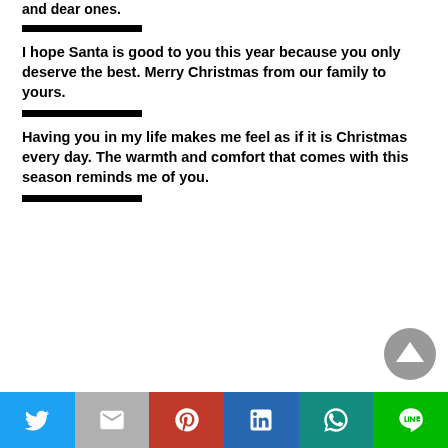and dear ones.
I hope Santa is good to you this year because you only deserve the best. Merry Christmas from our family to yours.
Having you in my life makes me feel as if it is Christmas every day. The warmth and comfort that comes with this season reminds me of you.
Social share bar: Twitter, Gmail, Pinterest, LinkedIn, WhatsApp, LINE